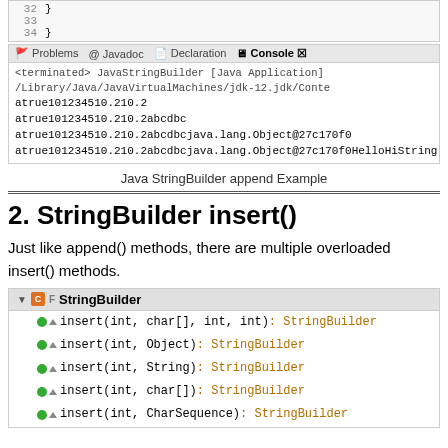[Figure (screenshot): Code editor showing lines 32-34 with closing braces of a Java method]
[Figure (screenshot): Eclipse IDE Console output showing StringBuilder append results: atrue101234510.210.2, atrue101234510.210.2abcdbc, atrue101234510.210.2abcdbcjava.lang.Object@27c170f0, atrue101234510.210.2abcdbcjava.lang.Object@27c170f0HelloHiString]
Java StringBuilder append Example
2. StringBuilder insert()
Just like append() methods, there are multiple overloaded insert() methods.
[Figure (screenshot): Eclipse IDE content assist showing StringBuilder insert() method overloads: insert(int, char[], int, int): StringBuilder, insert(int, Object): StringBuilder, insert(int, String): StringBuilder, insert(int, char[]): StringBuilder, insert(int, CharSequence): StringBuilder]